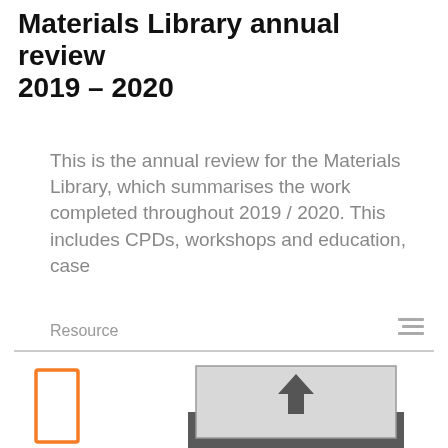Materials Library annual review 2019 – 2020
This is the annual review for the Materials Library, which summarises the work completed throughout 2019 / 2020. This includes CPDs, workshops and education, case
Resource
[Figure (other): Upload/document icon with an orange rectangle outline on the left and a grey upload arrow icon in a box on the right]